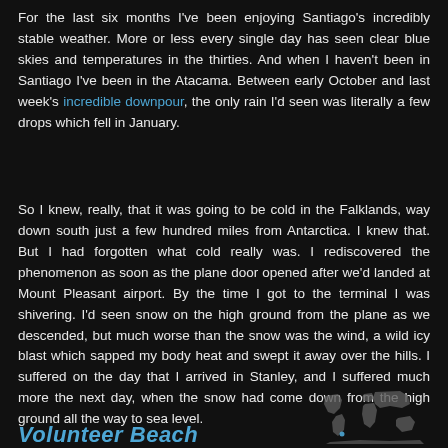For the last six months I've been enjoying Santiago's incredibly stable weather. More or less every single day has seen clear blue skies and temperatures in the thirties. And when I haven't been in Santiago I've been in the Atacama. Between early October and last week's incredible downpour, the only rain I'd seen was literally a few drops which fell in January.
So I knew, really, that it was going to be cold in the Falklands, way down south just a few hundred miles from Antarctica. I knew that. But I had forgotten what cold really was. I rediscovered the phenomenon as soon as the plane door opened after we'd landed at Mount Pleasant airport. By the time I got to the terminal I was shivering. I'd seen snow on the high ground from the plane as we descended, but much worse than the snow was the wind, a wild icy blast which sapped my body heat and swept it away over the hills. I suffered on the day that I arrived in Stanley, and I suffered much more the next day, when the snow had come down from the high ground all the way to sea level.
Volunteer Beach
[Figure (map): Small world map graphic showing location, rendered in grey tones on dark background]